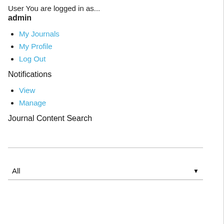User You are logged in as...
admin
My Journals
My Profile
Log Out
Notifications
View
Manage
Journal Content Search